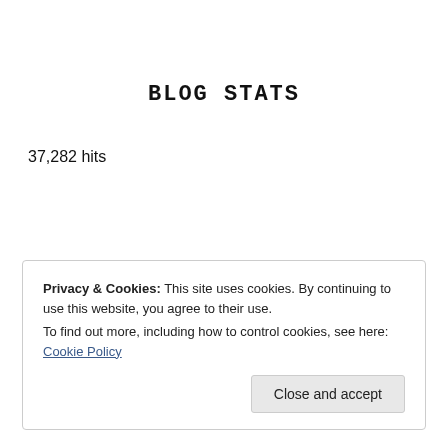BLOG STATS
37,282 hits
Privacy & Cookies: This site uses cookies. By continuing to use this website, you agree to their use.
To find out more, including how to control cookies, see here: Cookie Policy
Close and accept